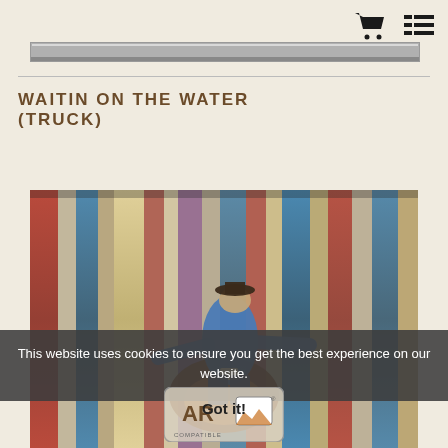Navigation header with cart and menu icons
[Figure (photo): Partial top image strip showing a decorative or product image bar]
WAITIN ON THE WATER (TRUCK)
[Figure (photo): Motion-blur photograph of a rodeo cowboy riding a bucking horse, with colorful blurred background of reds, blues, and yellows]
This website uses cookies to ensure you get the best experience on our website.
Got it!